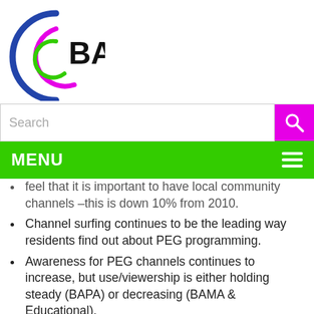[Figure (logo): BACB logo with concentric arcs in blue, magenta/pink, and green on the left, and bold text 'BACB' on the right]
[Figure (screenshot): Search bar with placeholder text 'Search' and a magenta search button with magnifying glass icon]
[Figure (screenshot): Green navigation menu bar with 'MENU' text on left and hamburger icon on right]
feel that it is important to have local community channels –this is down 10% from 2010.
Channel surfing continues to be the leading way residents find out about PEG programming.
Awareness for PEG channels continues to increase, but use/viewership is either holding steady (BAPA) or decreasing (BAMA & Educational).
Municipal Channel viewing is down more significantly (by 22%) than Public Access